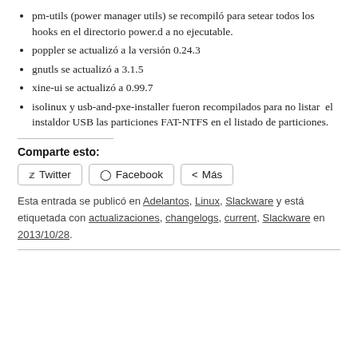pm-utils (power manager utils) se recompiló para setear todos los hooks en el directorio power.d a no ejecutable.
poppler se actualizó a la versión 0.24.3
gnutls se actualizó a 3.1.5
xine-ui se actualizó a 0.99.7
isolinux y usb-and-pxe-installer fueron recompilados para no listar  el instaldor USB las particiones FAT-NTFS en el listado de particiones.
Comparte esto:
Twitter  Facebook  Más
Esta entrada se publicó en Adelantos, Linux, Slackware y está etiquetada con actualizaciones, changelogs, current, Slackware en 2013/10/28.